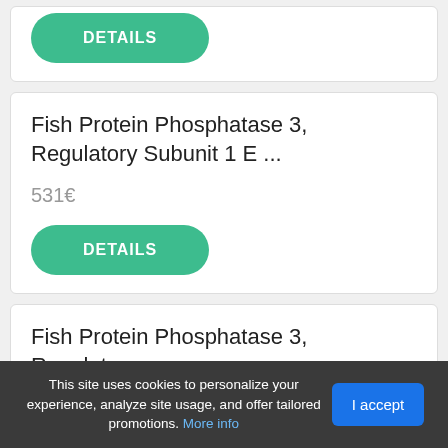[Figure (screenshot): Green DETAILS button (rounded pill shape) at top of page, part of a product card cut off at top]
Fish Protein Phosphatase 3, Regulatory Subunit 1 E ...
531€
[Figure (screenshot): Green DETAILS button (rounded pill shape)]
Fish Protein Phosphatase 3, Regulatory
This site uses cookies to personalize your experience, analyze site usage, and offer tailored promotions. More info
I accept